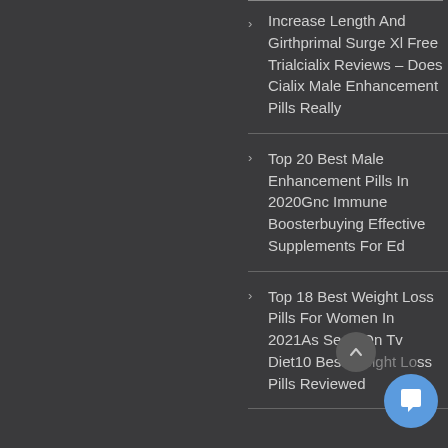Increase Length And Girthprimal Surge Xl Free Trialcialix Reviews – Does Cialix Male Enhancement Pills Really
Top 20 Best Male Enhancement Pills In 2020Gnc Immune Boosterbuying Effective Supplements For Ed
Top 18 Best Weight Loss Pills For Women In 2021As Seen On Tv Diet10 Best Weight Loss Pills Reviewed